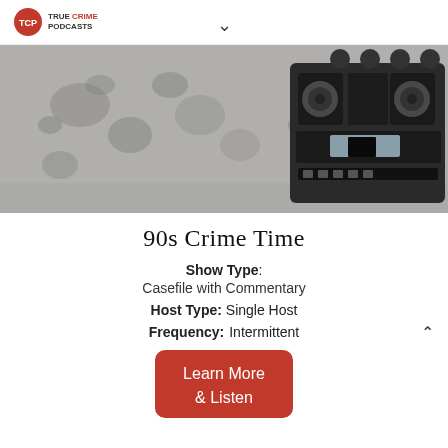True Crime Podcasts
[Figure (photo): A boombox/radio cassette player against a grungy concrete wall, black and white tones with some color detail on the boombox]
90s Crime Time
Show Type: Casefile with Commentary
Host Type: Single Host
Frequency: Intermittent
Learn More & Listen